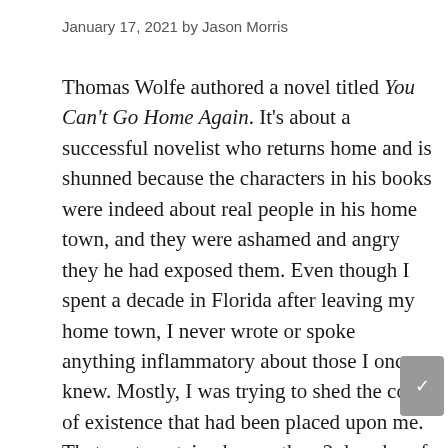January 17, 2021 by Jason Morris
Thomas Wolfe authored a novel titled You Can't Go Home Again. It's about a successful novelist who returns home and is shunned because the characters in his books were indeed about real people in his home town, and they were ashamed and angry they he had exposed them. Even though I spent a decade in Florida after leaving my home town, I never wrote or spoke anything inflammatory about those I once knew. Mostly, I was trying to shed the coat of existence that had been placed upon me. That coat contained more than 2 decades of history, and many people who knew me before I could walk. Sometimes when people know exactly who you are, it's hard to become what God has destined you to become.